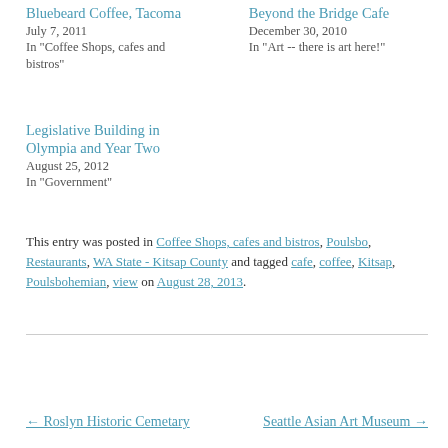Bluebeard Coffee, Tacoma
July 7, 2011
In "Coffee Shops, cafes and bistros"
Beyond the Bridge Cafe
December 30, 2010
In "Art -- there is art here!"
Legislative Building in Olympia and Year Two
August 25, 2012
In "Government"
This entry was posted in Coffee Shops, cafes and bistros, Poulsbo, Restaurants, WA State - Kitsap County and tagged cafe, coffee, Kitsap, Poulsbohemian, view on August 28, 2013.
← Roslyn Historic Cemetary     Seattle Asian Art Museum →